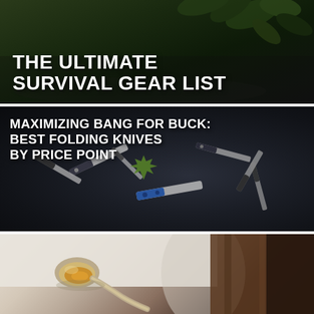[Figure (photo): Dark outdoor background image with foliage visible, overlaid with white bold text reading THE ULTIMATE SURVIVAL GEAR LIST]
THE ULTIMATE SURVIVAL GEAR LIST
[Figure (photo): Dark background image showing multiple folding knives scattered on a wet dark surface with a maple leaf, overlaid with white bold text]
MAXIMIZING BANG FOR BUCK: BEST FOLDING KNIVES BY PRICE POINT
[Figure (photo): Close-up photo of a silver spoon resting on a white surface next to a wooden surface, with amber liquid visible in the spoon bowl]